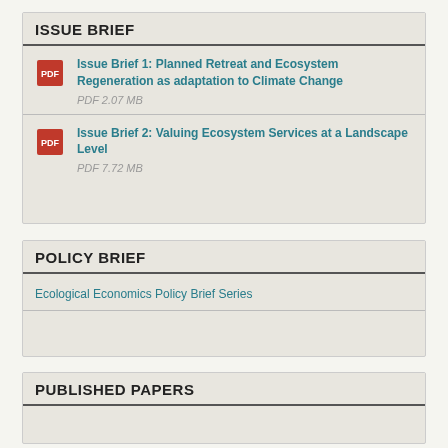ISSUE BRIEF
Issue Brief 1: Planned Retreat and Ecosystem Regeneration as adaptation to Climate Change
PDF 2.07 MB
Issue Brief 2: Valuing Ecosystem Services at a Landscape Level
PDF 7.72 MB
POLICY BRIEF
Ecological Economics Policy Brief Series
PUBLISHED PAPERS